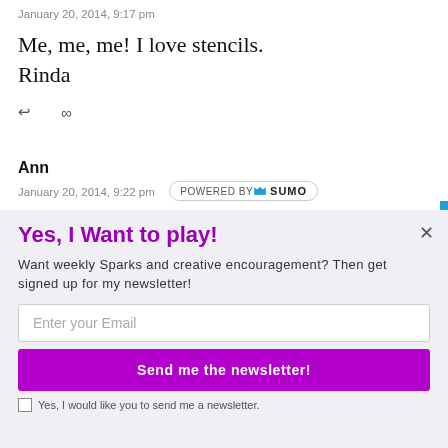January 20, 2014, 9:17 pm
Me, me, me! I love stencils.
Rinda
↩  ∞
Ann
January 20, 2014, 9:22 pm
Yes, I Want to play!
Want weekly Sparks and creative encouragement? Then get signed up for my newsletter!
Enter your Email
Send me the newsletter!
Yes, I would like you to send me a newsletter.